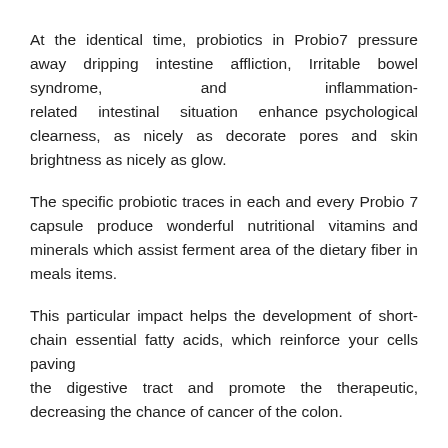At the identical time, probiotics in Probio7 pressure away dripping intestine affliction, Irritable bowel syndrome, and inflammation-related intestinal situation enhance psychological clearness, as nicely as decorate pores and skin brightness as nicely as glow.
The specific probiotic traces in each and every Probio 7 capsule produce wonderful nutritional vitamins and minerals which assist ferment area of the dietary fiber in meals items.
This particular impact helps the development of short-chain essential fatty acids, which reinforce your cells paving the digestive tract and promote the therapeutic, decreasing the chance of cancer of the colon.
Ingredients Of PROBIO 7